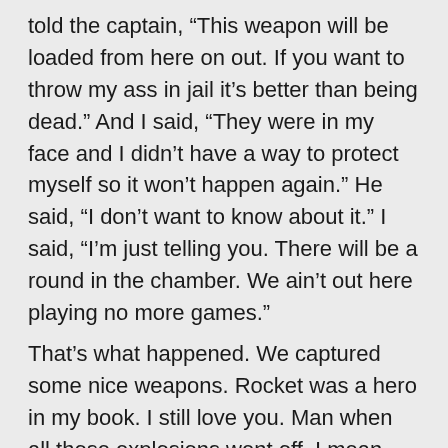told the captain, “This weapon will be loaded from here on out. If you want to throw my ass in jail it’s better than being dead.” And I said, “They were in my face and I didn’t have a way to protect myself so it won’t happen again.” He said, “I don’t want to know about it.” I said, “I’m just telling you. There will be a round in the chamber. We ain’t out here playing no more games.”
That’s what happened. We captured some nice weapons. Rocket was a hero in my book. I still love you. Man when all those explosions went off. I mean they were right